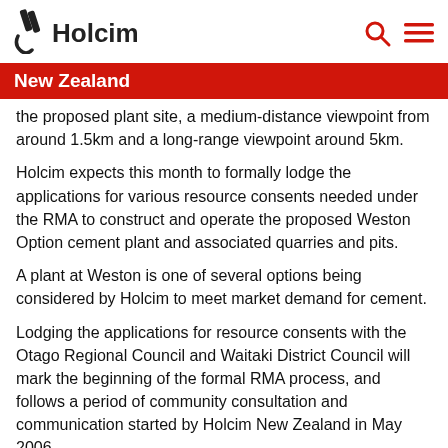Holcim
New Zealand
the proposed plant site, a medium-distance viewpoint from around 1.5km and a long-range viewpoint around 5km.
Holcim expects this month to formally lodge the applications for various resource consents needed under the RMA to construct and operate the proposed Weston Option cement plant and associated quarries and pits.
A plant at Weston is one of several options being considered by Holcim to meet market demand for cement.
Lodging the applications for resource consents with the Otago Regional Council and Waitaki District Council will mark the beginning of the formal RMA process, and follows a period of community consultation and communication started by Holcim New Zealand in May 2006.
Copies of the full applications will be available at public locations (libraries, council offices), and